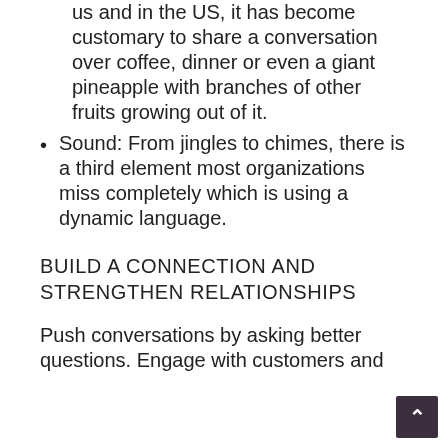us and in the US, it has become customary to share a conversation over coffee, dinner or even a giant pineapple with branches of other fruits growing out of it.
Sound: From jingles to chimes, there is a third element most organizations miss completely which is using a dynamic language.
BUILD A CONNECTION AND STRENGTHEN RELATIONSHIPS
Push conversations by asking better questions. Engage with customers and